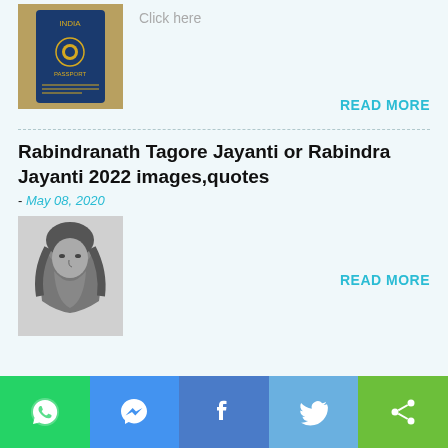[Figure (photo): Indian passport or emblem book thumbnail image]
Click here
READ MORE
Rabindranath Tagore Jayanti or Rabindra Jayanti 2022 images,quotes
- May 08, 2020
[Figure (photo): Black and white portrait photo of Rabindranath Tagore]
READ MORE
[Figure (infographic): Social sharing bar with WhatsApp, Messenger, Facebook, Twitter, and Share buttons]